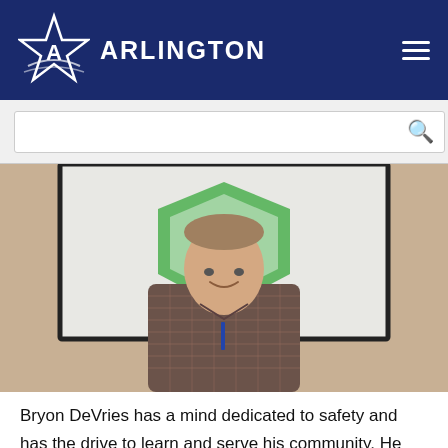Arlington
[Figure (photo): Man in plaid shirt smiling, standing in front of a projector screen displaying a green and white shield logo with text 'RESPONSE TEAM'. Background shows a beige wall and projector screen frame.]
Bryon DeVries has a mind dedicated to safety and has the drive to learn and serve his community. He has been a member of both the Citizens Police Academy and Arlington